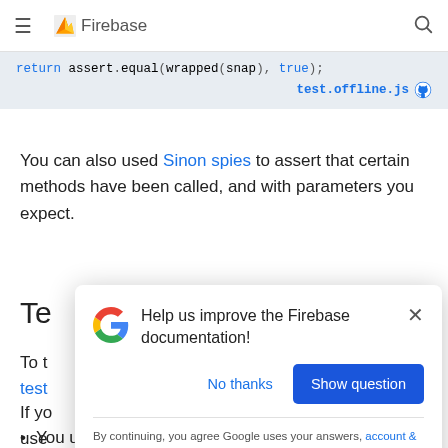Firebase
return assert.equal(wrapped(snap), true);
                                    test.offline.js
You can also used Sinon spies to assert that certain methods have been called, and with parameters you expect.
Te
To t                                                                              as test
If yo                                                                             d use
[Figure (screenshot): Modal dialog: 'Help us improve the Firebase documentation!' with Google G logo, close X button, 'No thanks' and 'Show question' buttons, and footer text about Google using answers with links to account & system info, Privacy, and Terms.]
You use functions.config()